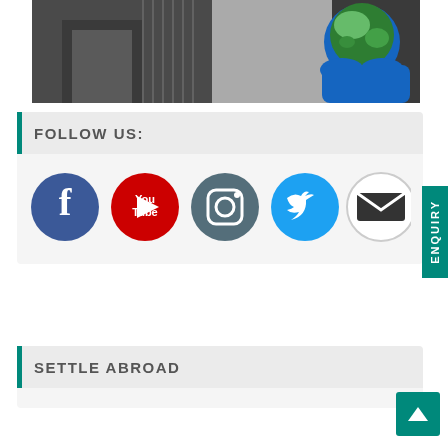[Figure (photo): Photo of people in business attire, one holding a globe with blue hands underneath]
FOLLOW US:
[Figure (infographic): Row of social media icons: Facebook (blue circle), YouTube (red circle), Instagram (dark blue-grey circle), Twitter (light blue circle), Email (white circle with envelope)]
SETTLE ABROAD